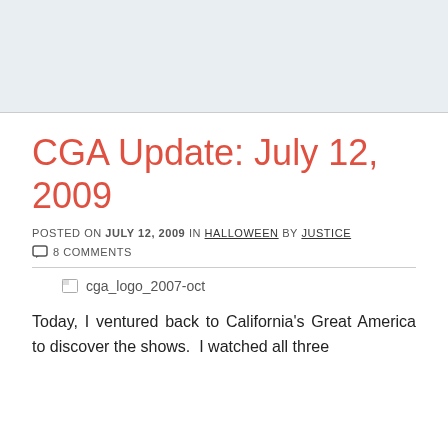CGA Update: July 12, 2009
POSTED ON JULY 12, 2009 IN HALLOWEEN BY JUSTICE
8 COMMENTS
[Figure (other): Broken image placeholder with alt text: cga_logo_2007-oct]
Today, I ventured back to California's Great America to discover the shows.  I watched all three